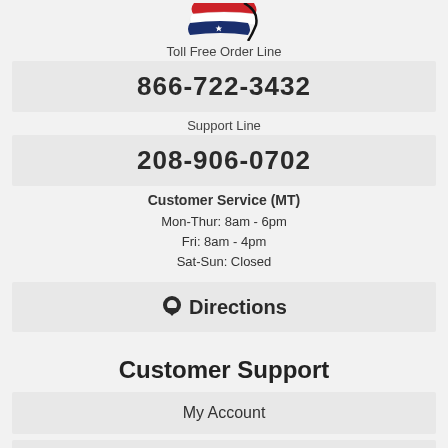[Figure (logo): Partial flag logo (red, white, blue with star) at top of page]
Toll Free Order Line
866-722-3432
Support Line
208-906-0702
Customer Service (MT)
Mon-Thur: 8am - 6pm
Fri: 8am - 4pm
Sat-Sun: Closed
[Figure (infographic): Directions button with map pin icon]
Customer Support
My Account
My Orders